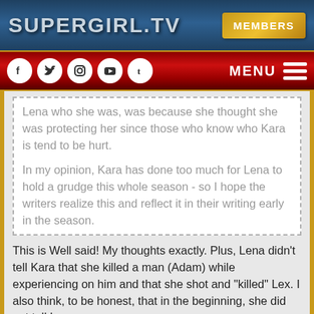SUPERGIRL.TV  MEMBERS
Lena who she was, was because she thought she was protecting her since those who know who Kara is tend to be hurt.

In my opinion, Kara has done too much for Lena to hold a grudge this whole season - so I hope the writers realize this and reflect it in their writing early in the season.
This is Well said! My thoughts exactly. Plus, Lena didn't tell Kara that she killed a man (Adam) while experiencing on him and that she shot and "killed" Lex. I also think, to be honest, that in the beginning, she did not tell Lena